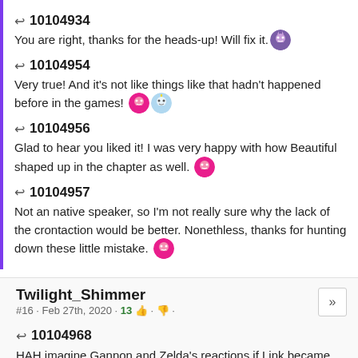↩ 10104934
You are right, thanks for the heads-up! Will fix it. [emoji]
↩ 10104954
Very true! And it's not like things like that hadn't happened before in the games! [emoji][emoji]
↩ 10104956
Glad to hear you liked it! I was very happy with how Beautiful shaped up in the chapter as well. [emoji]
↩ 10104957
Not an native speaker, so I'm not really sure why the lack of the crontaction would be better. Nonethless, thanks for hunting down these little mistake. [emoji]
Twilight_Shimmer
#16 · Feb 27th, 2020 · 13 👍 · 👎 ·
↩ 10104968
HAH imagine Gannon and Zelda's reactions if Link became